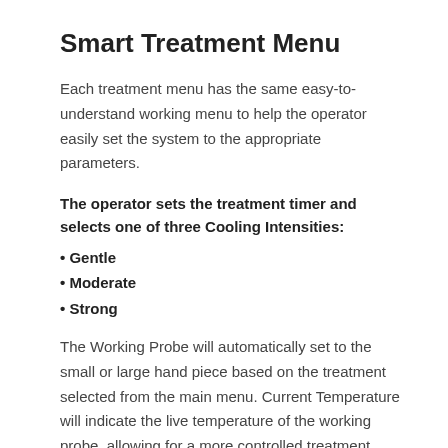Smart Treatment Menu
Each treatment menu has the same easy-to-understand working menu to help the operator easily set the system to the appropriate parameters.
The operator sets the treatment timer and selects one of three Cooling Intensities:
Gentle
Moderate
Strong
The Working Probe will automatically set to the small or large hand piece based on the treatment selected from the main menu. Current Temperature will indicate the live temperature of the working probe, allowing for a more controlled treatment.